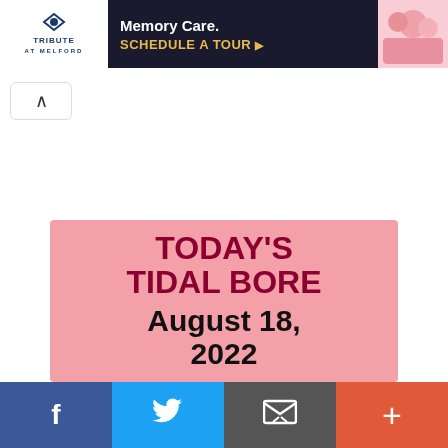[Figure (screenshot): Advertisement banner for Tribute at Melford showing Memory Care and Schedule a Tour call to action]
[Figure (screenshot): Back navigation button with upward chevron arrow]
TODAY'S TIDAL BORE August 18, 2022
[Figure (screenshot): Social sharing bar with Facebook, Twitter, Email, and More buttons]